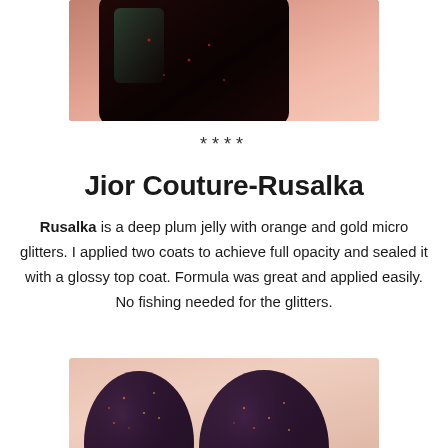[Figure (photo): Close-up photo of a dark nail polish bottle with a glossy dark plum/black surface and green reflective sheen, against a pinkish-red background]
****
Jior Couture-Rusalka
Rusalka is a deep plum jelly with orange and gold micro glitters. I applied two coats to achieve full opacity and sealed it with a glossy top coat. Formula was great and applied easily. No fishing needed for the glitters.
[Figure (photo): Close-up photo of nails painted in deep plum/purple with orange and gold micro glitters visible]